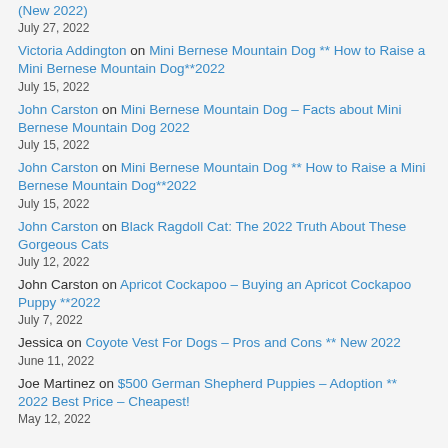(New 2022) July 27, 2022
Victoria Addington on Mini Bernese Mountain Dog ** How to Raise a Mini Bernese Mountain Dog**2022 July 15, 2022
John Carston on Mini Bernese Mountain Dog – Facts about Mini Bernese Mountain Dog 2022 July 15, 2022
John Carston on Mini Bernese Mountain Dog ** How to Raise a Mini Bernese Mountain Dog**2022 July 15, 2022
John Carston on Black Ragdoll Cat: The 2022 Truth About These Gorgeous Cats July 12, 2022
John Carston on Apricot Cockapoo – Buying an Apricot Cockapoo Puppy **2022 July 7, 2022
Jessica on Coyote Vest For Dogs – Pros and Cons ** New 2022 June 11, 2022
Joe Martinez on $500 German Shepherd Puppies – Adoption ** 2022 Best Price – Cheapest! May 12, 2022